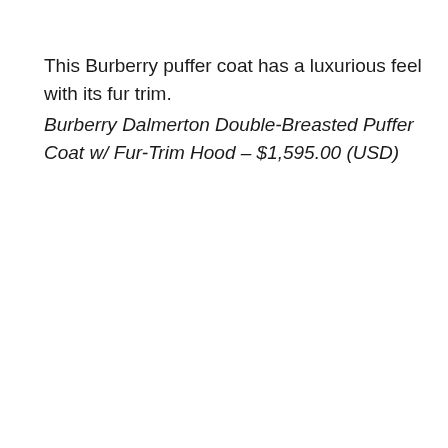This Burberry puffer coat has a luxurious feel with its fur trim.
Burberry Dalmerton Double-Breasted Puffer Coat w/ Fur-Trim Hood – $1,595.00 (USD)